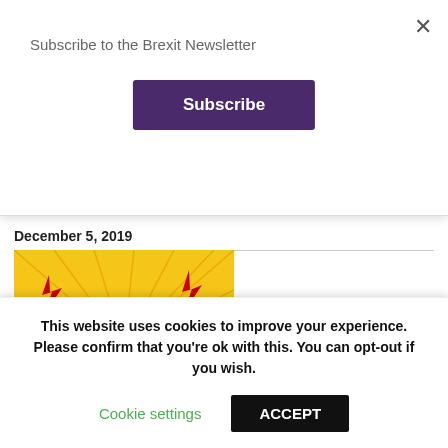Subscribe to the Brexit Newsletter
Subscribe
business urgently needs clarity on Brexit
December 5, 2019
[Figure (illustration): Comic-style pop art illustration of a stressed businessman with hands on head, lightning bolts around him, on a yellow sunburst background]
Don’t be beaten by Brexit fatigue
This website uses cookies to improve your experience. Please confirm that you’re ok with this. You can opt-out if you wish.
Cookie settings
ACCEPT